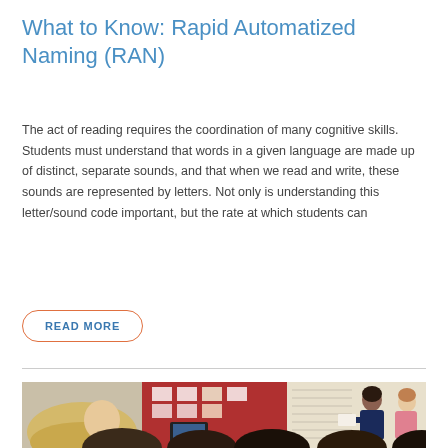What to Know: Rapid Automatized Naming (RAN)
The act of reading requires the coordination of many cognitive skills. Students must understand that words in a given language are made up of distinct, separate sounds, and that when we read and write, these sounds are represented by letters. Not only is understanding this letter/sound code important, but the rate at which students can
READ MORE
[Figure (photo): Classroom scene showing a teacher holding up a book or card at the front of a classroom with students seated. A red bulletin board and computer are visible in the background, along with windows with blinds.]